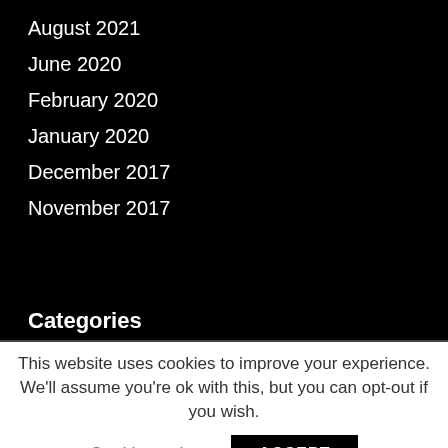August 2021
June 2020
February 2020
January 2020
December 2017
November 2017
Categories
This website uses cookies to improve your experience. We'll assume you're ok with this, but you can opt-out if you wish.
Cookie settings
ACCEPT